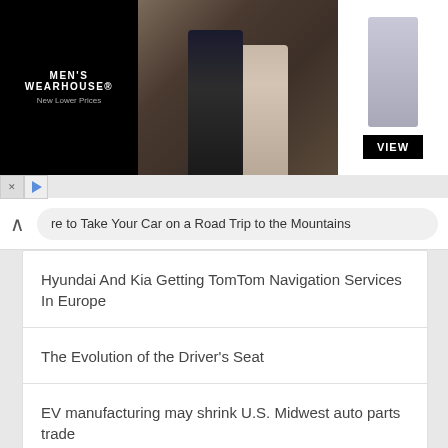[Figure (screenshot): Men's Wearhouse advertisement banner with couple in formal wear and boy in suit with VIEW button]
re to Take Your Car on a Road Trip to the Mountains
Hyundai And Kia Getting TomTom Navigation Services In Europe
The Evolution of the Driver's Seat
EV manufacturing may shrink U.S. Midwest auto parts trade
German autos association sees lower passenger car deliveries in U.S., Europe